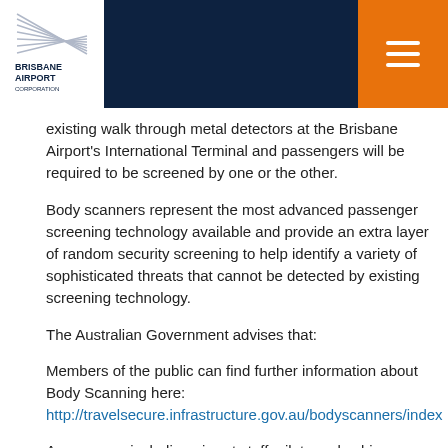Brisbane Airport Corporation
existing walk through metal detectors at the Brisbane Airport's International Terminal and passengers will be required to be screened by one or the other.
Body scanners represent the most advanced passenger screening technology available and provide an extra layer of random security screening to help identify a variety of sophisticated threats that cannot be detected by existing screening technology.
The Australian Government advises that:
Members of the public can find further information about Body Scanning here: http://travelsecure.infrastructure.gov.au/bodyscanners/index
Any person, including airport staff, pilots and cabin crew, may be selected to undergo a body scan on a random basis and those who refuse a body scan without a valid medical or physical condition